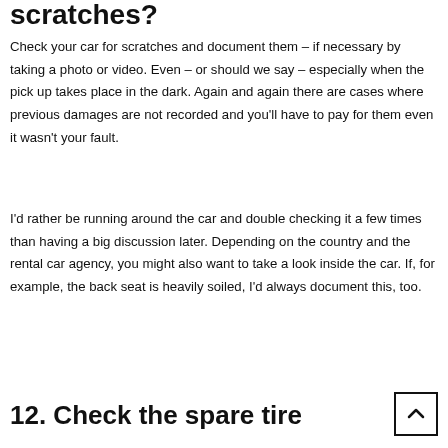scratches?
Check your car for scratches and document them – if necessary by taking a photo or video. Even – or should we say – especially when the pick up takes place in the dark. Again and again there are cases where previous damages are not recorded and you'll have to pay for them even it wasn't your fault.
I'd rather be running around the car and double checking it a few times than having a big discussion later. Depending on the country and the rental car agency, you might also want to take a look inside the car. If, for example, the back seat is heavily soiled, I'd always document this, too.
12. Check the spare tire